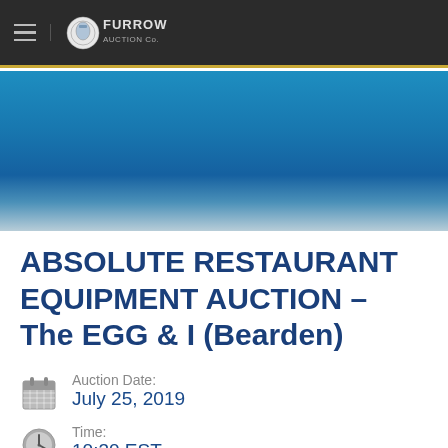Furrow Auction Co.
[Figure (illustration): Blue gradient banner image used as decorative header background]
ABSOLUTE RESTAURANT EQUIPMENT AUCTION – The EGG & I (Bearden)
Auction Date: July 25, 2019
Time: 10:30 EST